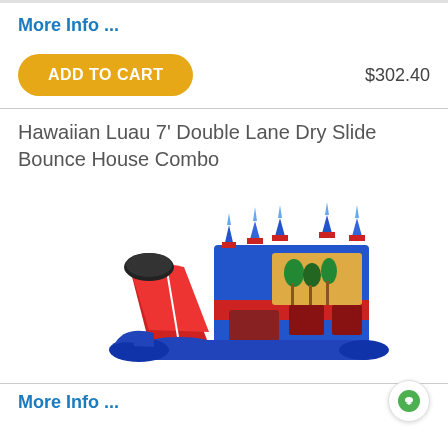More Info ...
ADD TO CART
$302.40
Hawaiian Luau 7' Double Lane Dry Slide Bounce House Combo
[Figure (photo): A blue and red inflatable bounce house combo with a double lane dry slide, castle-style turrets, and a Hawaiian Luau themed banner on the side.]
More Info ...